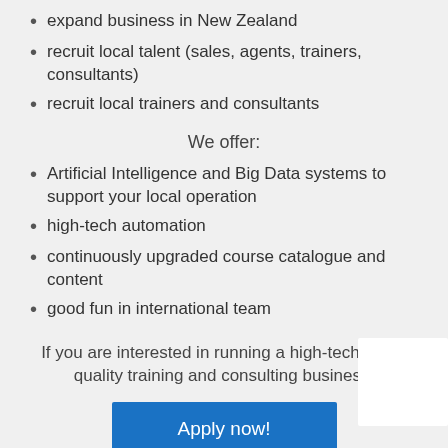expand business in New Zealand
recruit local talent (sales, agents, trainers, consultants)
recruit local trainers and consultants
We offer:
Artificial Intelligence and Big Data systems to support your local operation
high-tech automation
continuously upgraded course catalogue and content
good fun in international team
If you are interested in running a high-tech, high-quality training and consulting business.
Apply now!